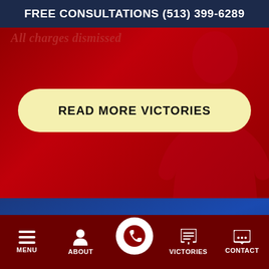FREE CONSULTATIONS (513) 399-6289
All charges dismissed
READ MORE VICTORIES
Award-Winning Defense Attorneys
Nationally Recognized. Locally Respected.
MENU  ABOUT  VICTORIES  CONTACT